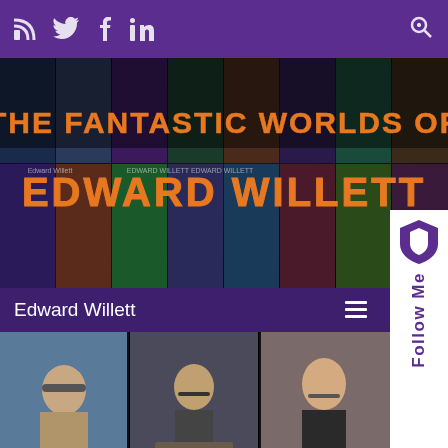RSS Twitter Facebook LinkedIn (social nav icons) | Search
[Figure (photo): Banner image: 'The Fantastic Worlds of Edward Willett' with orange/yellow decorative lettering on a dark background featuring various book covers]
[Figure (screenshot): Follow Me sidebar widget with purple shield/Brave logo and vertical 'Follow Me' text]
Edward Willett  ☰
[Figure (photo): Video grid showing 6 people on video call: top row has man with cap outdoors, man with glasses at desk, woman with glasses smiling; bottom row has blonde woman with glasses, older bearded man with headphones, bald man with glasses]
Authors talk about their Shapers of Worlds anthology stories
At When Words Collide 2022, one of the panels I led featured a handful of the many authors whose stories have appeared in the Shapers of Worlds anthologies I Kickstarted (and who have also, of ...